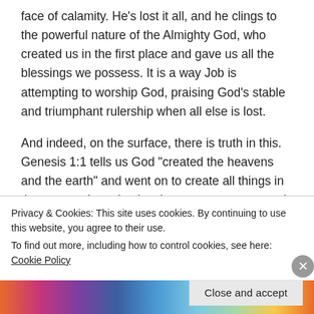face of calamity. He’s lost it all, and he clings to the powerful nature of the Almighty God, who created us in the first place and gave us all the blessings we possess. It is a way Job is attempting to worship God, praising God’s stable and triumphant rulership when all else is lost.
And indeed, on the surface, there is truth in this. Genesis 1:1 tells us God “created the heavens and the earth” and went on to create all things in them—people, animals, planets, seas, stars, and more. Revelation 22:13 proclaims God as “Alpha and the Omega, the First and the Last, the Beginning and the
Privacy & Cookies: This site uses cookies. By continuing to use this website, you agree to their use.
To find out more, including how to control cookies, see here: Cookie Policy